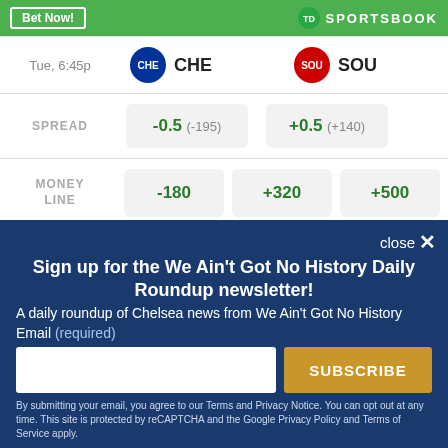|  | CHE | SOU |
| --- | --- | --- |
| Tue, 6:45p | CHE | SOU |
| SPREAD | -0.5 (-195) | +0.5 (+140) |
| MONEY LINE | -180 | +320  +500 |
Sign up for the We Ain't Got No History Daily Roundup newsletter!
A daily roundup of Chelsea news from We Ain't Got No History
Email (required)
SUBSCRIBE
By submitting your email, you agree to our Terms and Privacy Notice. You can opt out at any time. This site is protected by reCAPTCHA and the Google Privacy Policy and Terms of Service apply.